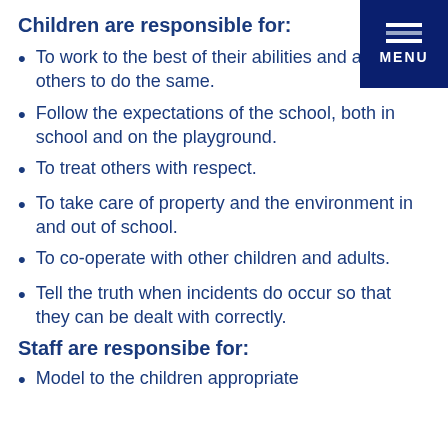Children are responsible for:
To work to the best of their abilities and allow others to do the same.
Follow the expectations of the school, both in school and on the playground.
To treat others with respect.
To take care of property and the environment in and out of school.
To co-operate with other children and adults.
Tell the truth when incidents do occur so that they can be dealt with correctly.
Staff are responsibe for:
Model to the children appropriate